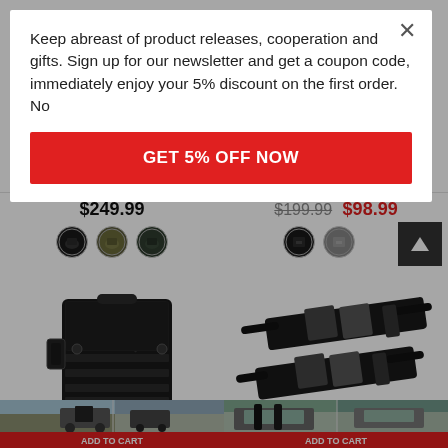Keep abreast of product releases, cooperation and gifts. Sign up for our newsletter and get a coupon code, immediately enjoy your 5% discount on the first order. No
GET 5% OFF NOW
$249.99
$199.99  $98.99
[Figure (screenshot): Color swatch circles for tactical bags — black, olive, and dark green options on left; black and grey options on right]
[Figure (photo): Black tactical MOLLE utility pouch/bag with X-shaped cord and zipper pulls]
[Figure (photo): Black tactical shoulder straps with metal buckles]
[Figure (screenshot): Thumbnail strip showing tactical bag mounted on ATV/vehicle, add to cart button below]
[Figure (screenshot): Thumbnail strip showing tactical bag/roll bar accessory on vehicle, add to cart button below]
ADD TO CART
ADD TO CART